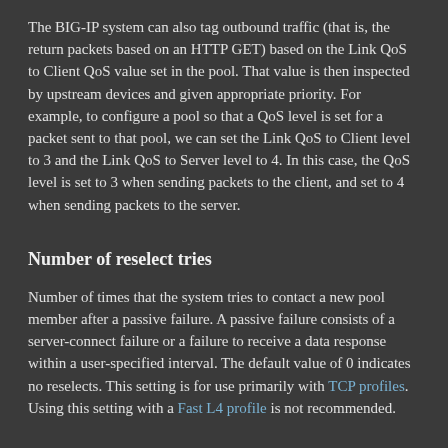The BIG-IP system can also tag outbound traffic (that is, the return packets based on an HTTP GET) based on the Link QoS to Client QoS value set in the pool. That value is then inspected by upstream devices and given appropriate priority. For example, to configure a pool so that a QoS level is set for a packet sent to that pool, we can set the Link QoS to Client level to 3 and the Link QoS to Server level to 4. In this case, the QoS level is set to 3 when sending packets to the client, and set to 4 when sending packets to the server.
Number of reselect tries
Number of times that the system tries to contact a new pool member after a passive failure. A passive failure consists of a server-connect failure or a failure to receive a data response within a user-specified interval. The default value of 0 indicates no reselects. This setting is for use primarily with TCP profiles. Using this setting with a Fast L4 profile is not recommended.